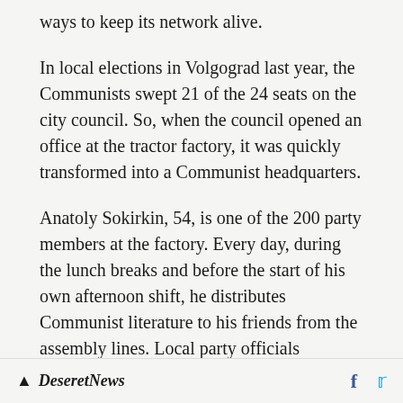ways to keep its network alive.
In local elections in Volgograd last year, the Communists swept 21 of the 24 seats on the city council. So, when the council opened an office at the tractor factory, it was quickly transformed into a Communist headquarters.
Anatoly Sokirkin, 54, is one of the 200 party members at the factory. Every day, during the lunch breaks and before the start of his own afternoon shift, he distributes Communist literature to his friends from the assembly lines. Local party officials describe him as "one of our
Deseret News  f  [Twitter]